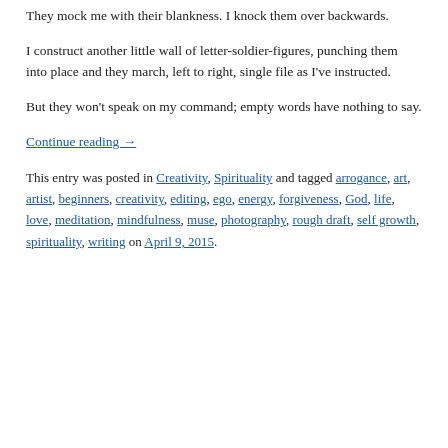They mock me with their blankness. I knock them over backwards.
I construct another little wall of letter-soldier-figures, punching them into place and they march, left to right, single file as I've instructed.
But they won't speak on my command; empty words have nothing to say.
Continue reading →
This entry was posted in Creativity, Spirituality and tagged arrogance, art, artist, beginners, creativity, editing, ego, energy, forgiveness, God, life, love, meditation, mindfulness, muse, photography, rough draft, self growth, spirituality, writing on April 9, 2015.